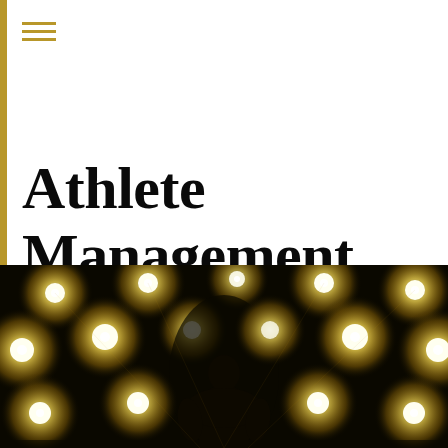[Figure (other): Menu hamburger icon with three horizontal gold lines]
Athlete Management Agreements
[Figure (photo): Dark silhouette of a person from behind, standing in front of bright stadium spotlights arranged in a grid pattern, creating a dramatic golden light effect against a dark background]